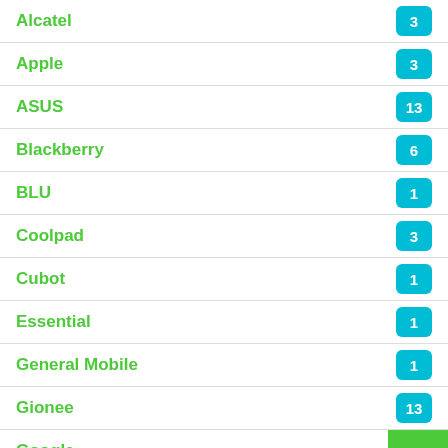Alcatel
Apple
ASUS
Blackberry
BLU
Coolpad
Cubot
Essential
General Mobile
Gionee
Google
HTC
Huawei